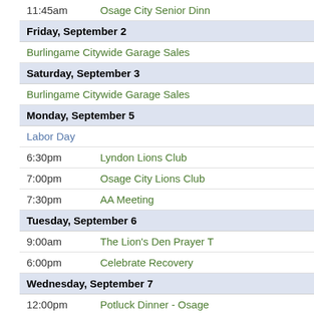| Time | Event |
| --- | --- |
| 11:45am | Osage City Senior Dinn... |
| Friday, September 2 |  |
|  | Burlingame Citywide Garage Sales |
| Saturday, September 3 |  |
|  | Burlingame Citywide Garage Sales |
| Monday, September 5 |  |
|  | Labor Day |
| 6:30pm | Lyndon Lions Club |
| 7:00pm | Osage City Lions Club |
| 7:30pm | AA Meeting |
| Tuesday, September 6 |  |
| 9:00am | The Lion's Den Prayer T... |
| 6:00pm | Celebrate Recovery |
| Wednesday, September 7 |  |
| 12:00pm | Potluck Dinner - Osage |
| 4:00pm | Carbondale Farmers Ma... |
| 8:00pm | AA Meeting |
| Monday, September 12 |  |
| 7:00pm | Osage City Kiwanis Clu... |
| 7:30pm | AA Meeting |